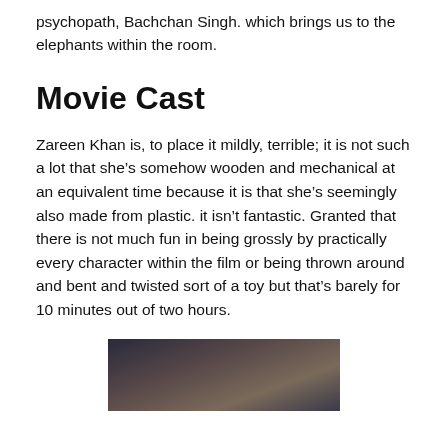psychopath, Bachchan Singh. which brings us to the elephants within the room.
Movie Cast
Zareen Khan is, to place it mildly, terrible; it is not such a lot that she’s somehow wooden and mechanical at an equivalent time because it is that she’s seemingly also made from plastic. it isn’t fantastic. Granted that there is not much fun in being grossly by practically every character within the film or being thrown around and bent and twisted sort of a toy but that’s barely for 10 minutes out of two hours.
[Figure (photo): A photo showing two people, likely movie cast members.]